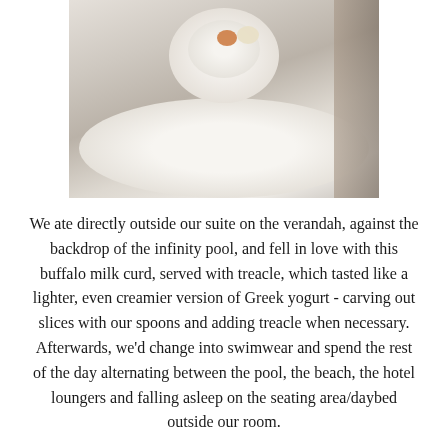[Figure (photo): Top-down photo of a white bowl and plate with food items including what appears to be buffalo milk curd with treacle, orange and cream colored items visible, dark background on right side]
We ate directly outside our suite on the verandah, against the backdrop of the infinity pool, and fell in love with this buffalo milk curd, served with treacle, which tasted like a lighter, even creamier version of Greek yogurt - carving out slices with our spoons and adding treacle when necessary. Afterwards, we'd change into swimwear and spend the rest of the day alternating between the pool, the beach, the hotel loungers and falling asleep on the seating area/daybed outside our room.
The next day, we ventured to Unawatuna Beach, where John got absolutely burnt ... I didn't show too much sympathy at the time, but then felt very sorry for him a few days later when he was clearly still in pain and I jokingly dubbed his feet "underdone pork chops - white on the outside and pink in the middle" (I'm the WORST) and made him promise to see a doctor when he got home.
With waves that are far more manageable and easier to swim in, the beach is dotted with guesthouses and sun worshippers - all vying for a spot on the sand.